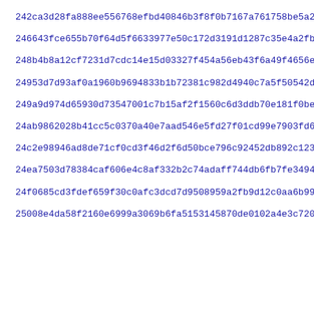242ca3d28fa888ee556768efbd40846b3f8f0b7167a761758be5a265daf22
246643fce655b70f64d5f6633977e50c172d3191d1287c35e4a2fb68649644
248b4b8a12cf7231d7cdc14e15d03327f454a56eb43f6a49f4656ed4f393f
24953d7d93af0a1960b9694833b1b72381c982d4940c7a5f50542dc5218f0
249a9d974d65930d73547001c7b15af2f1560c6d3ddb70e181f0beb71163e
24ab9862028b41cc5c0370a40e7aad546e5fd27f01cd99e7903fd6a0ead4e
24c2e98946ad8de71cf0cd3f46d2f6d50bce796c92452db892c12387d839b
24ea7503d78384caf606e4c8af332b2c74adaff744db6fb7fe3494296d746
24f0685cd3fdef659f30c0afc3dcd7d9508959a2fb9d12c0aa6b998291015
25008e4da58f2160e6999a3069b6fa5153145870de0102a4e3c72062ac781